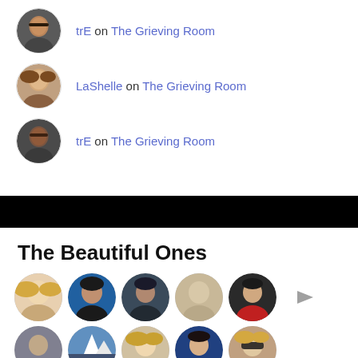trE on The Grieving Room
LaShelle on The Grieving Room
trE on The Grieving Room
The Beautiful Ones
[Figure (photo): Grid of circular avatar photos for The Beautiful Ones section, showing 5 avatars in top row and 5 in second row, plus a right arrow navigation button]